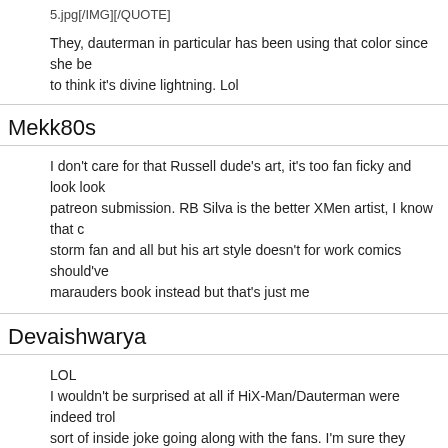5.jpg[/IMG][/QUOTE]
They, dauterman in particular has been using that color since she be to think it's divine lightning. Lol
Mekk80s
I don't care for that Russell dude's art, it's too fan ficky and look look patreon submission. RB Silva is the better XMen artist, I know that c storm fan and all but his art style doesn't for work comics should've marauders book instead but that's just me
Devaishwarya
LOL
I wouldn't be surprised at all if HiX-Man/Dauterman were indeed trol sort of inside joke going along with the fans. I'm sure they know we and why we do.
Mekk80s